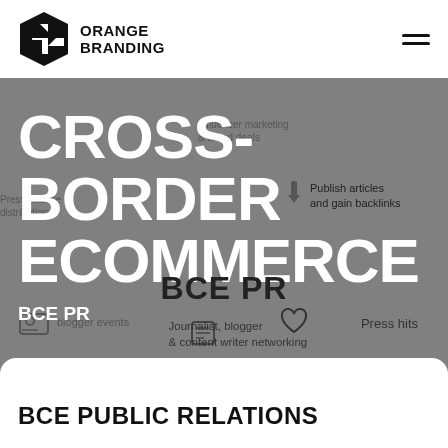[Figure (logo): Orange Branding logo with geometric hexagon icon and bold text ORANGE BRANDING]
CROSS-BORDER ECOMMERCE
[Figure (infographic): Gray banner with BCE PR infographic overlay showing: influencer marketing, press releases, publish articles and gain backlinks, blogger events, press hits, journalist blogger and content writer networking]
BCE PUBLIC RELATIONS